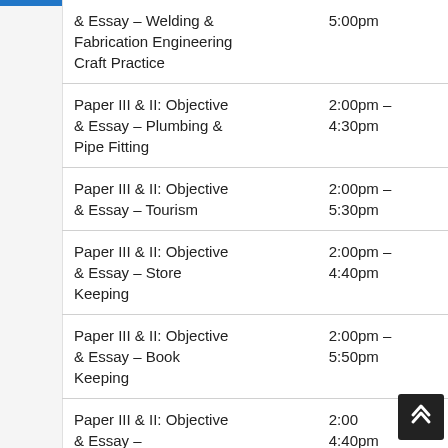| Subject/Paper | Time |
| --- | --- |
| & Essay – Welding & Fabrication Engineering Craft Practice | 5:00pm |
| Paper III & II: Objective & Essay – Plumbing & Pipe Fitting | 2:00pm – 4:30pm |
| Paper III & II: Objective & Essay – Tourism | 2:00pm – 5:30pm |
| Paper III & II: Objective & Essay – Store Keeping | 2:00pm – 4:40pm |
| Paper III & II: Objective & Essay – Book Keeping | 2:00pm – 5:50pm |
| Paper III & II: Objective & Essay – | 2:00 – 4:40pm |